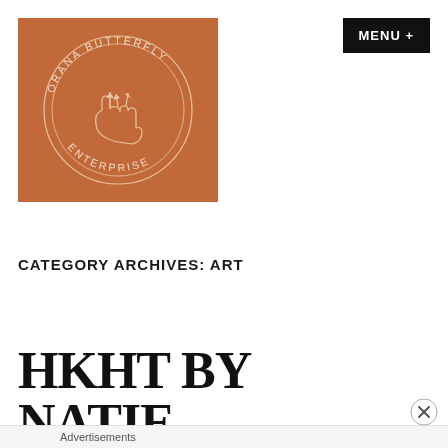[Figure (logo): Orana Butterfly Enterprise logo — square warm brown/terracotta background with circular badge containing crystals on a hand, text reading 'ORANA BUTTERFLY' arcing top and 'ENTERPRISE' arcing bottom]
[Figure (other): MENU + button — black rectangle with white bold text]
CATEGORY ARCHIVES: ART
HKHT BY NATIE
Advertisements
[Figure (other): Close/X circle button in bottom right]